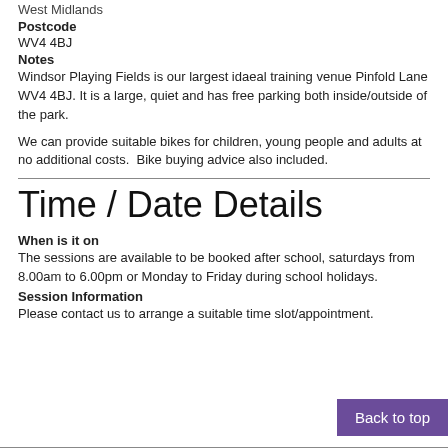West Midlands
Postcode
WV4 4BJ
Notes
Windsor Playing Fields is our largest idaeal training venue Pinfold Lane WV4 4BJ. It is a large, quiet and has free parking both inside/outside of the park.
We can provide suitable bikes for children, young people and adults at no additional costs.  Bike buying advice also included.
Time / Date Details
When is it on
The sessions are available to be booked after school, saturdays from 8.00am to 6.00pm or Monday to Friday during school holidays.
Session Information
Please contact us to arrange a suitable time slot/appointment.
Back to top